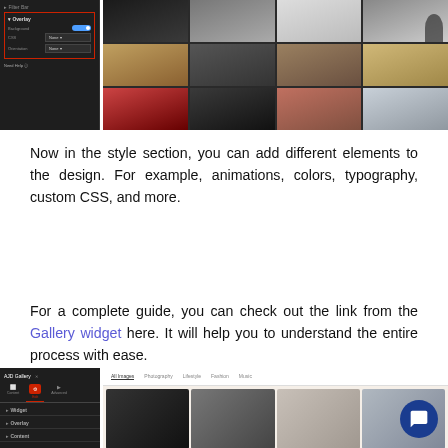[Figure (screenshot): Screenshot of a web page builder showing a dark sidebar with filter/overlay settings and a gallery grid of photos on the right]
Now in the style section, you can add different elements to the design. For example, animations, colors, typography, custom CSS, and more.
For a complete guide, you can check out the link from the Gallery widget here. It will help you to understand the entire process with ease.
[Figure (screenshot): Screenshot of a gallery widget builder with a dark sidebar showing widget settings tabs and a gallery of photos with category filter tabs including All Images, Photography, Lifestyle, Fashion, Music]